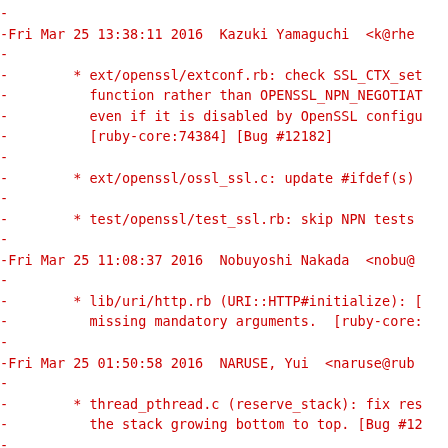-
-Fri Mar 25 13:38:11 2016  Kazuki Yamaguchi  <k@rhe
-
-        * ext/openssl/extconf.rb: check SSL_CTX_set
-          function rather than OPENSSL_NPN_NEGOTIAT
-          even if it is disabled by OpenSSL configu
-          [ruby-core:74384] [Bug #12182]
-
-        * ext/openssl/ossl_ssl.c: update #ifdef(s)
-
-        * test/openssl/test_ssl.rb: skip NPN tests
-
-Fri Mar 25 11:08:37 2016  Nobuyoshi Nakada  <nobu@
-
-        * lib/uri/http.rb (URI::HTTP#initialize): [
-          missing mandatory arguments.  [ruby-core:
-
-Fri Mar 25 01:50:58 2016  NARUSE, Yui  <naruse@rub
-
-        * thread_pthread.c (reserve_stack): fix res
-          the stack growing bottom to top. [Bug #12
-
-Fri Mar 25 01:10:42 2016  Sebastian Schuberth  <ss
-
-        * lib/mkmf.rb (find_executable0): On Window
-          to surround individual PATH directory ent
-          quotes. Remove these before joining the p
-          literal quotes would become part of the p
-          executable not to be found.  [Fix GH-1305
-
- Thu Mar 24 00:00:40 2016  Nobuyoshi Nakada  <